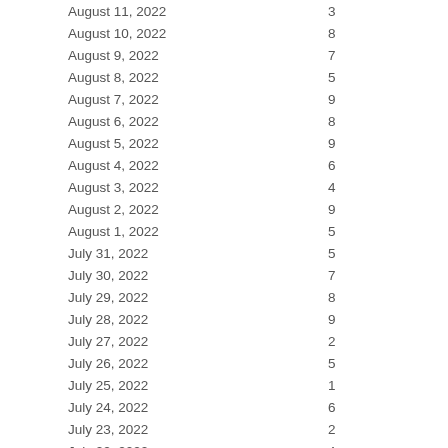| Date | Value |
| --- | --- |
| August 11, 2022 | 3 |
| August 10, 2022 | 8 |
| August 9, 2022 | 7 |
| August 8, 2022 | 5 |
| August 7, 2022 | 9 |
| August 6, 2022 | 8 |
| August 5, 2022 | 9 |
| August 4, 2022 | 6 |
| August 3, 2022 | 4 |
| August 2, 2022 | 9 |
| August 1, 2022 | 5 |
| July 31, 2022 | 5 |
| July 30, 2022 | 7 |
| July 29, 2022 | 8 |
| July 28, 2022 | 9 |
| July 27, 2022 | 2 |
| July 26, 2022 | 5 |
| July 25, 2022 | 1 |
| July 24, 2022 | 6 |
| July 23, 2022 | 2 |
| July 22, 2022 | 4 |
| July 21, 2022 | 7 |
| July 20, 2022 | 5 |